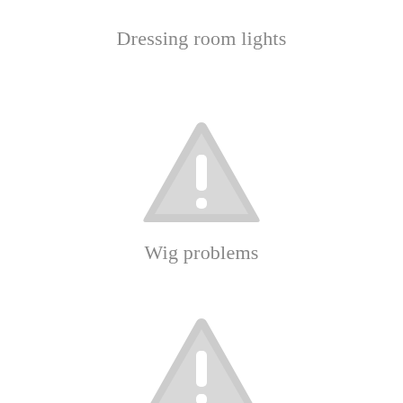Dressing room lights
[Figure (illustration): Warning triangle icon with exclamation mark, light grey color]
Wig problems
[Figure (illustration): Warning triangle icon with exclamation mark, light grey color]